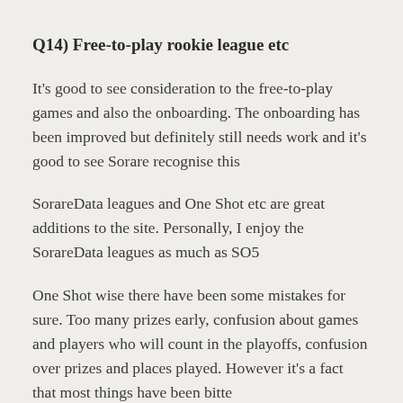Q14) Free-to-play rookie league etc
It's good to see consideration to the free-to-play games and also the onboarding. The onboarding has been improved but definitely still needs work and it's good to see Sorare recognise this
SorareData leagues and One Shot etc are great additions to the site. Personally, I enjoy the SorareData leagues as much as SO5
One Shot wise there have been some mistakes for sure. Too many prizes early, confusion about games and players who will count in the playoffs, confusion over prizes and places played. However it's a fact that most things have been bitter…